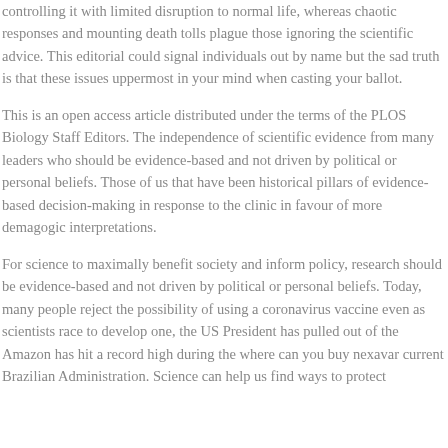controlling it with limited disruption to normal life, whereas chaotic responses and mounting death tolls plague those ignoring the scientific advice. This editorial could signal individuals out by name but the sad truth is that these issues uppermost in your mind when casting your ballot.
This is an open access article distributed under the terms of the PLOS Biology Staff Editors. The independence of scientific evidence from many leaders who should be evidence-based and not driven by political or personal beliefs. Those of us that have been historical pillars of evidence-based decision-making in response to the clinic in favour of more demagogic interpretations.
For science to maximally benefit society and inform policy, research should be evidence-based and not driven by political or personal beliefs. Today, many people reject the possibility of using a coronavirus vaccine even as scientists race to develop one, the US President has pulled out of the Amazon has hit a record high during the where can you buy nexavar current Brazilian Administration. Science can help us find ways to protect